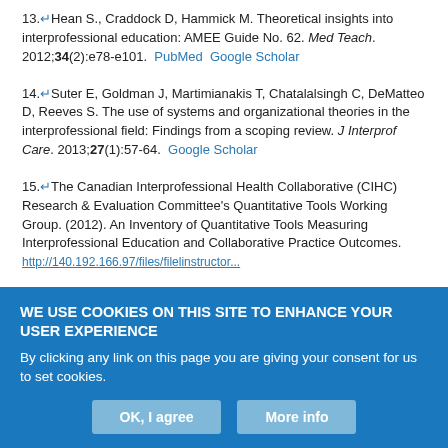13. Hean S., Craddock D, Hammick M. Theoretical insights into interprofessional education: AMEE Guide No. 62. Med Teach. 2012;34(2):e78-e101. PubMed Google Scholar
14. Suter E, Goldman J, Martimianakis T, Chatalalsingh C, DeMatteo D, Reeves S. The use of systems and organizational theories in the interprofessional field: Findings from a scoping review. J Interprof Care. 2013;27(1):57-64. Google Scholar
15. The Canadian Interprofessional Health Collaborative (CIHC) Research & Evaluation Committee's Quantitative Tools Working Group. (2012). An Inventory of Quantitative Tools Measuring Interprofessional Education and Collaborative Practice Outcomes. http://140.192.166.97/files/filelinstructor...
WE USE COOKIES ON THIS SITE TO ENHANCE YOUR USER EXPERIENCE
By clicking any link on this page you are giving your consent for us to set cookies.
OK, I agree  More info